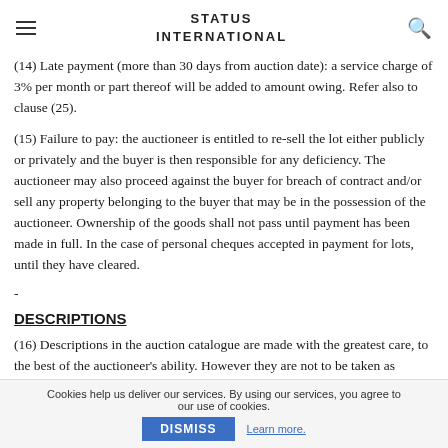STATUS INTERNATIONAL
(14) Late payment (more than 30 days from auction date): a service charge of 3% per month or part thereof will be added to amount owing. Refer also to clause (25).
(15) Failure to pay: the auctioneer is entitled to re-sell the lot either publicly or privately and the buyer is then responsible for any deficiency. The auctioneer may also proceed against the buyer for breach of contract and/or sell any property belonging to the buyer that may be in the possession of the auctioneer. Ownership of the goods shall not pass until payment has been made in full. In the case of personal cheques accepted in payment for lots, until they have cleared.
-
DESCRIPTIONS
(16) Descriptions in the auction catalogue are made with the greatest care, to the best of the auctioneer's ability. However they are not to be taken as statements of fact. All larger
Cookies help us deliver our services. By using our services, you agree to our use of cookies. DISMISS Learn more.